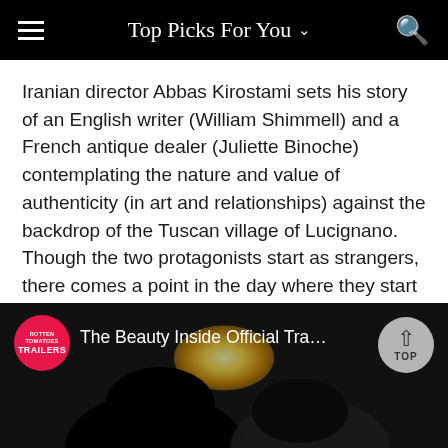Top Picks For You
Iranian director Abbas Kirostami sets his story of an English writer (William Shimmell) and a French antique dealer (Juliette Binoche) contemplating the nature and value of authenticity (in art and relationships) against the backdrop of the Tuscan village of Lucignano. Though the two protagonists start as strangers, there comes a point in the day where they start to playact as if they've been married for 15 years—blurring the border between what is authentic and what is a facsimile.
[Figure (screenshot): Video thumbnail showing 'The Beauty Inside Official Tra...' with Rotten Tomatoes Trailers badge on the left and a TOP button on the right. The background shows two silhouetted figures against a glowing light.]